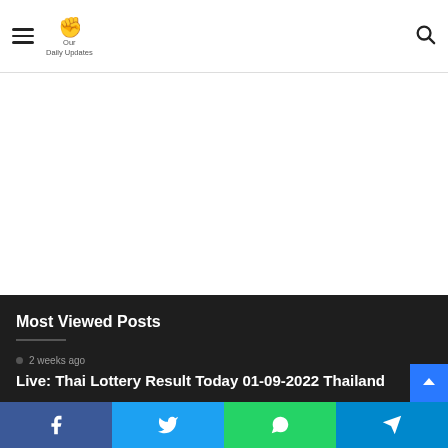Our Daily Updates — site navigation header with hamburger menu, logo, and search icon
Most Viewed Posts
2 weeks ago
Live: Thai Lottery Result Today 01-09-2022 Thailand
Social share bar: Facebook, Twitter, WhatsApp, Telegram